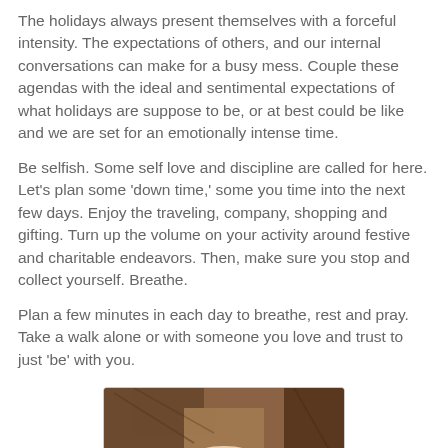The holidays always present themselves with a forceful intensity. The expectations of others, and our internal conversations can make for a busy mess. Couple these agendas with the ideal and sentimental expectations of what holidays are suppose to be, or at best could be like and we are set for an emotionally intense time.
Be selfish. Some self love and discipline are called for here. Let's plan some 'down time,' some you time into the next few days. Enjoy the traveling, company, shopping and gifting. Turn up the volume on your activity around festive and charitable endeavors. Then, make sure you stop and collect yourself. Breathe.
Plan a few minutes in each day to breathe, rest and pray. Take a walk alone or with someone you love and trust to just 'be' with you.
[Figure (photo): A photo showing hands, likely clasped or praying, with a warm brown/wood background tone. The image is partially visible, cut off at the bottom.]